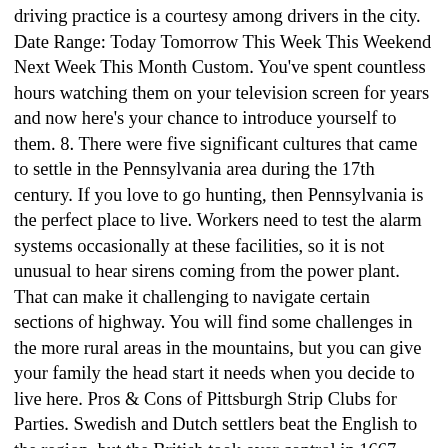driving practice is a courtesy among drivers in the city. Date Range: Today Tomorrow This Week This Weekend Next Week This Month Custom. You've spent countless hours watching them on your television screen for years and now here's your chance to introduce yourself to them. 8. There were five significant cultures that came to settle in the Pennsylvania area during the 17th century. If you love to go hunting, then Pennsylvania is the perfect place to live. Workers need to test the alarm systems occasionally at these facilities, so it is not unusual to hear sirens coming from the power plant. That can make it challenging to navigate certain sections of highway. You will find some challenges in the more rural areas in the mountains, but you can give your family the head start it needs when you decide to live here. Pros & Cons of Pittsburgh Strip Clubs for Parties. Swedish and Dutch settlers beat the English to the region, but the British took over control in 1667. Page Transparency See More. A single person estimated monthly costs are 1,057.33$ without rent. In the early days of the American industrial revolution, companies built towns for their workers as a way to motivate them to take a job. Steakhouse. The Cons. Pittsburgh, Appalachia, and the northern parts of the state have their variations as well. If you mispronounce a name, then expect to be corrected until you get it right. Jobs; Pittsburgh Jobs; CGI Cobol Developer Jobs; CGI Software Engineer Jobs; Jobs Tips; 11 Recession-Proof Jobs; ... Cons. Not Now. Bring your own collectibles, posters, or DVDs, pick up something in our large exhibitors area of 200-300 vendors, and try one of the restaurant...